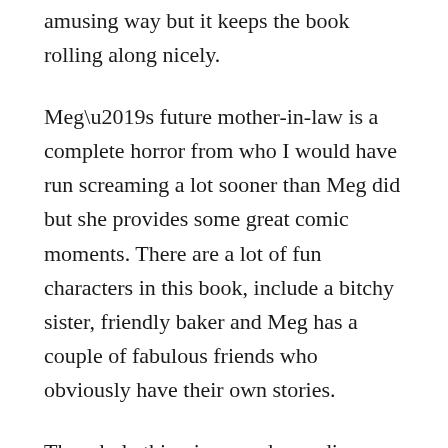amusing way but it keeps the book rolling along nicely.
Meg’s future mother-in-law is a complete horror from who I would have run screaming a lot sooner than Meg did but she provides some great comic moments. There are a lot of fun characters in this book, include a bitchy sister, friendly baker and Meg has a couple of fabulous friends who obviously have their own stories.
The whole thing is an undemanding, easy, fun read, perfect for a hot summer’s day on a sun lounger with a glass of something cool within reach. I can’t wait to catch up on Karen Clarke’s back catalogue.
The Bakery at Seashell Cove is out now and you can buy it here.